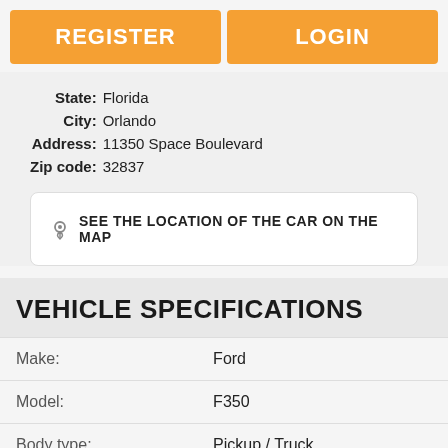REGISTER
LOGIN
State: Florida
City: Orlando
Address: 11350 Space Boulevard
Zip code: 32837
SEE THE LOCATION OF THE CAR ON THE MAP
VEHICLE SPECIFICATIONS
|  |  |
| --- | --- |
| Make: | Ford |
| Model: | F350 |
| Body type: | Pickup / Truck |